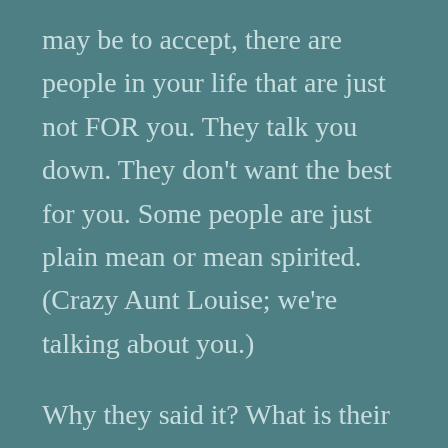may be to accept, there are people in your life that are just not FOR you. They talk you down. They don't want the best for you. Some people are just plain mean or mean spirited. (Crazy Aunt Louise; we're talking about you.)

Why they said it? What is their perspective? Perhaps they have a different way to look at it, or it